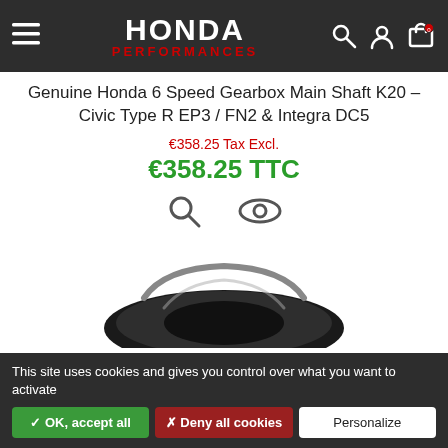[Figure (screenshot): Honda Performances website navigation bar with hamburger menu, Honda Performances logo (white HONDA text, red PERFORMANCES text), and icons for search, account, and cart on dark grey background]
Genuine Honda 6 Speed Gearbox Main Shaft K20 - Civic Type R EP3 / FN2 & Integra DC5
€358.25 Tax Excl.
€358.25 TTC
[Figure (photo): A shiny black metal gearbox main shaft ring/collar component, partially visible at the bottom of the page]
This site uses cookies and gives you control over what you want to activate
✓ OK, accept all
✗ Deny all cookies
Personalize